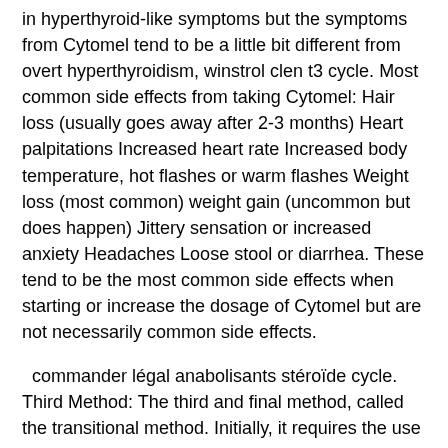in hyperthyroid-like symptoms but the symptoms from Cytomel tend to be a little bit different from overt hyperthyroidism, winstrol clen t3 cycle. Most common side effects from taking Cytomel: Hair loss (usually goes away after 2-3 months) Heart palpitations Increased heart rate Increased body temperature, hot flashes or warm flashes Weight loss (most common) weight gain (uncommon but does happen) Jittery sensation or increased anxiety Headaches Loose stool or diarrhea. These tend to be the most common side effects when starting or increase the dosage of Cytomel but are not necessarily common side effects.
commander légal anabolisants stéroïde cycle.
Third Method: The third and final method, called the transitional method. Initially, it requires the use of Clenbuterol by applying a